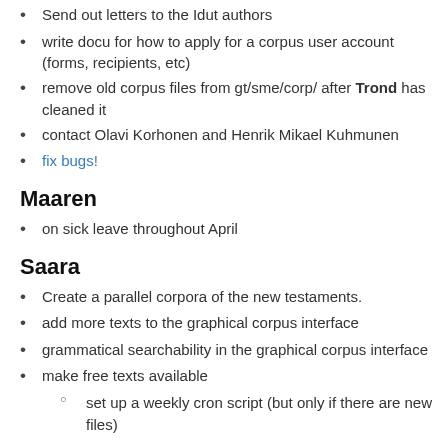Send out letters to the Idut authors
write docu for how to apply for a corpus user account (forms, recipients, etc)
remove old corpus files from gt/sme/corp/ after Trond has cleaned it
contact Olavi Korhonen and Henrik Mikael Kuhmunen
fix bugs!
Maaren
on sick leave throughout April
Saara
Create a parallel corpora of the new testaments.
add more texts to the graphical corpus interface
grammatical searchability in the graphical corpus interface
make free texts available
set up a weekly cron script (but only if there are new files)